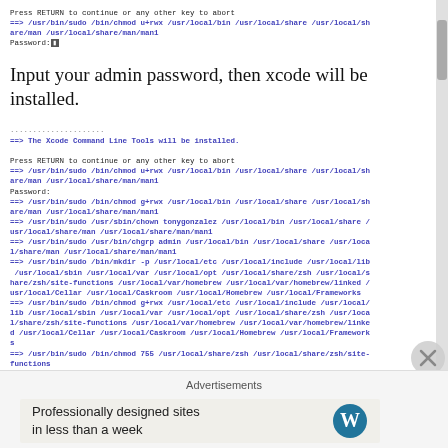Press RETURN to continue or any other key to abort
==> /usr/bin/sudo /bin/chmod u+rwx /usr/local/bin /usr/local/share /usr/local/share/man /usr/local/share/man/man1
Password:
Input your admin password, then xcode will be installed.
...................
==> The Xcode Command Line Tools will be installed.

Press RETURN to continue or any other key to abort
==> /usr/bin/sudo /bin/chmod u+rwx /usr/local/bin /usr/local/share /usr/local/share/man /usr/local/share/man/man1
Password:
==> /usr/bin/sudo /bin/chmod g+rwx /usr/local/bin /usr/local/share /usr/local/share/man /usr/local/share/man/man1
==> /usr/bin/sudo /usr/sbin/chown tonygonzalez /usr/local/bin /usr/local/share /usr/local/share/man /usr/local/share/man/man1
==> /usr/bin/sudo /usr/bin/chgrp admin /usr/local/bin /usr/local/share /usr/local/share/man /usr/local/share/man/man1
==> /usr/bin/sudo /bin/mkdir -p /usr/local/etc /usr/local/include /usr/local/lib /usr/local/sbin /usr/local/var /usr/local/opt /usr/local/share/zsh /usr/local/share/zsh/site-functions /usr/local/var/homebrew /usr/local/var/homebrew/linked /usr/local/Cellar /usr/local/Caskroom /usr/local/Homebrew /usr/local/Frameworks
==> /usr/bin/sudo /bin/chmod g+rwx /usr/local/etc /usr/local/include /usr/local/lib /usr/local/sbin /usr/local/var /usr/local/opt /usr/local/share/zsh /usr/local/share/zsh/site-functions /usr/local/var/homebrew /usr/local/var/homebrew/linked /usr/local/Cellar /usr/local/Caskroom /usr/local/Homebrew /usr/local/Frameworks
==> /usr/bin/sudo /bin/chmod 755 /usr/local/share/zsh /usr/local/share/zsh/site-functions
==> /usr/bin/sudo /usr/sbin/chown tonygonzalez /usr/local/etc /usr/local/include /usr/local/lib /usr/local/sbin /usr/local/var /usr/local/opt /usr/local/share/z
Advertisements
Professionally designed sites in less than a week